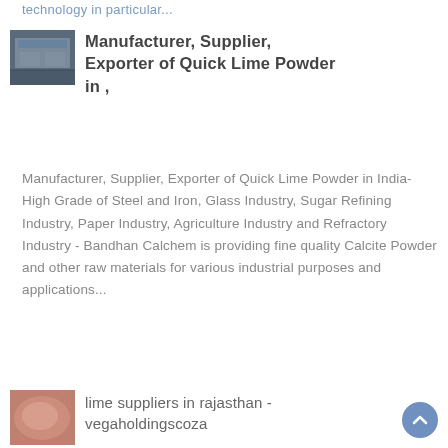technology in particular...
Manufacturer, Supplier, Exporter of Quick Lime Powder in ,
[Figure (photo): Industrial facility/manufacturing plant interior photo]
Manufacturer, Supplier, Exporter of Quick Lime Powder in India- High Grade of Steel and Iron, Glass Industry, Sugar Refining Industry, Paper Industry, Agriculture Industry and Refractory Industry - Bandhan Calchem is providing fine quality Calcite Powder and other raw materials for various industrial purposes and applications...
[Figure (photo): Pink/red powdery substance photo thumbnail]
lime suppliers in rajasthan - vegaholdingscoza